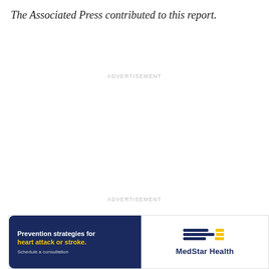The Associated Press contributed to this report.
ADVERTISEMENT
ADVERTISEMENT
[Figure (other): MedStar Health advertisement banner: dark navy blue left panel with text 'Prevention strategies for heart attack or stroke. Schedule a consultation' and right white panel with MedStar Health logo with decorative lines]